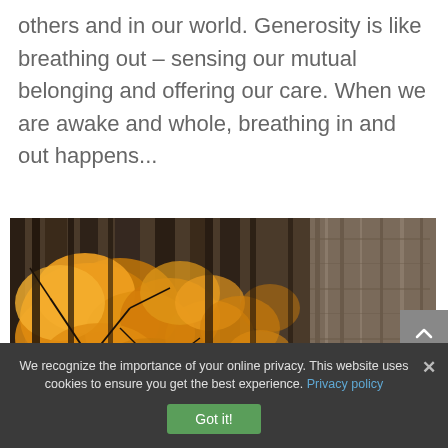others and in our world. Generosity is like breathing out – sensing our mutual belonging and offering our care. When we are awake and whole, breathing in and out happens...
[Figure (photo): Autumn forest scene with bright yellow-orange maple leaves against dark tree trunks and bark]
We recognize the importance of your online privacy. This website uses cookies to ensure you get the best experience. Privacy policy
Got it!